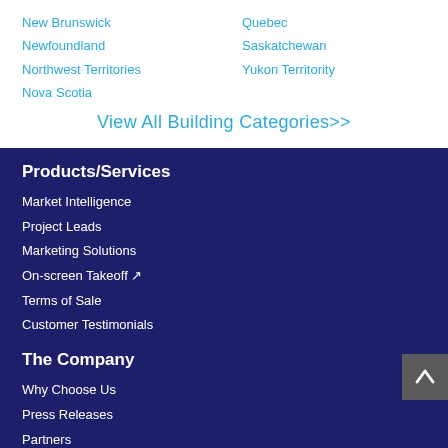New Brunswick
Quebec
Newfoundland
Saskatchewan
Northwest Territories
Yukon Territority
Nova Scotia
View All Building Categories>>
Products/Services
Market Intelligence
Project Leads
Marketing Solutions
On-screen Takeoff ↗
Terms of Sale
Customer Testimonials
The Company
Why Choose Us
Press Releases
Partners
Executive Team
Careers